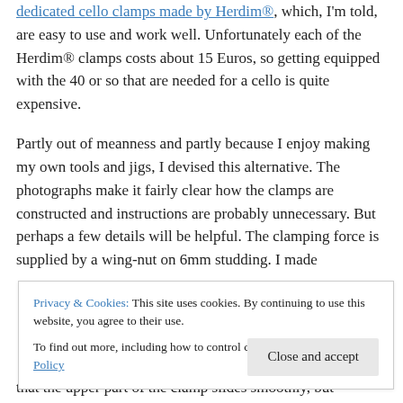dedicated cello clamps made by Herdim®, which, I'm told, are easy to use and work well. Unfortunately each of the Herdim® clamps costs about 15 Euros, so getting equipped with the 40 or so that are needed for a cello is quite expensive.
Partly out of meanness and partly because I enjoy making my own tools and jigs, I devised this alternative. The photographs make it fairly clear how the clamps are constructed and instructions are probably unnecessary. But perhaps a few details will be helpful. The clamping force is supplied by a wing-nut on 6mm studding. I made
Privacy & Cookies: This site uses cookies. By continuing to use this website, you agree to their use. To find out more, including how to control cookies, see here: Cookie Policy
that the upper part of the clamp slides smoothly, but